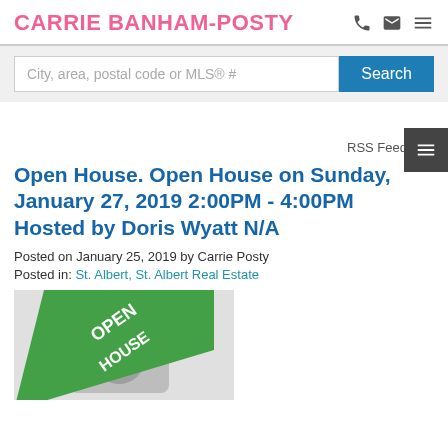CARRIE BANHAM-POSTY
City, area, postal code or MLS® #
RSS Feed
Open House. Open House on Sunday, January 27, 2019 2:00PM - 4:00PM Hosted by Doris Wyatt N/A
Posted on January 25, 2019 by Carrie Posty
Posted in: St. Albert, St. Albert Real Estate
[Figure (photo): Open house placeholder image with camera icon and green diagonal 'OPEN HOUSE' banner]